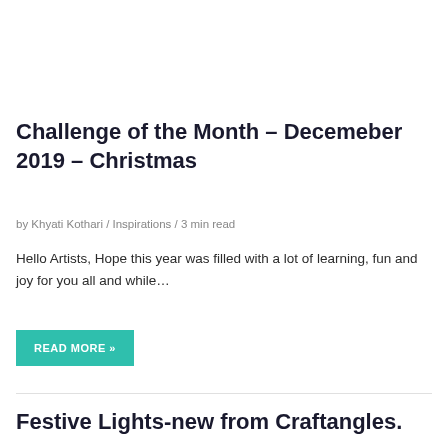Challenge of the Month – Decemeber 2019 – Christmas
by Khyati Kothari / Inspirations / 3 min read
Hello Artists, Hope this year was filled with a lot of learning, fun and joy for you all and while…
READ MORE »
Festive Lights-new from Craftangles.